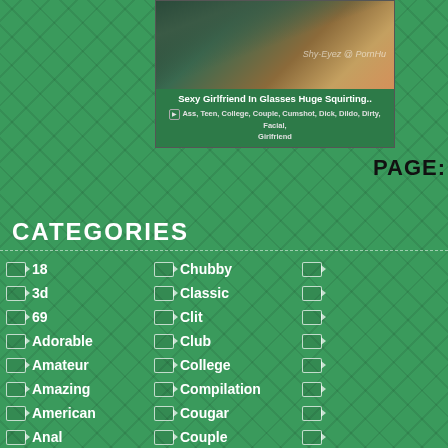[Figure (screenshot): Video thumbnail showing a person with teal hair]
Sexy Girlfriend In Glasses Huge Squirting..
Ass, Teen, College, Couple, Cumshot, Dick, Dildo, Dirty, Facial, Girlfriend
PAGES:
CATEGORIES
18
3d
69
Adorable
Amateur
Amazing
American
Anal
Chubby
Classic
Clit
Club
College
Compilation
Cougar
Couple